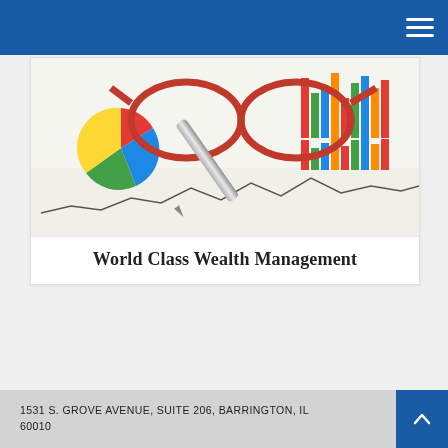[Figure (photo): A photograph of financial charts, a pie chart, bar charts, a line graph, glasses, and a pen on paper.]
World Class Wealth Management
1531 S. GROVE AVENUE, SUITE 206, BARRINGTON, IL 60010